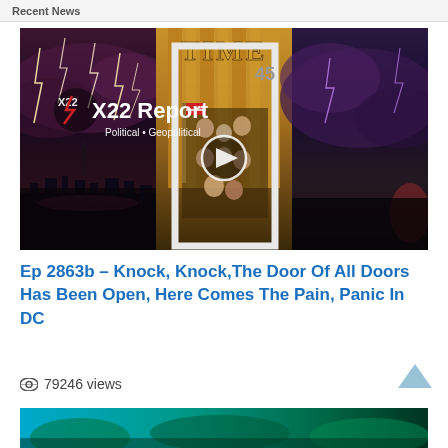Recent News
[Figure (screenshot): Video thumbnail for X22 Report showing a composite image: left panel has lightning over Washington DC skyline, center panel shows a TIME magazine cover displayed as a door with the number 45, right panel shows a stormy purple sky. X22 Report logo overlay with text 'Political • Geopolitical' and a play button circle in the center.]
Ep 2863b – Knock, Knock,The Door Of All Doors Has Been Open, Here Comes The Pain, Panic In DC
79246 views
[Figure (photo): Bottom thumbnail strip showing tropical/nature scene in teal and green tones]